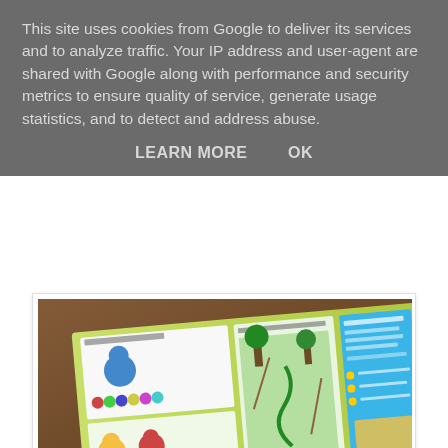This site uses cookies from Google to deliver its services and to analyze traffic. Your IP address and user-agent are shared with Google along with performance and security metrics to ensure quality of service, generate usage statistics, and to detect and address abuse.
LEARN MORE    OK
[Figure (photo): Photo of a children's board game book open on a wooden table, showing colorful game boards including 'Red Dog Colour Game' and 'Jungle Snakes & Ladders', with a blue panel on the right side showing learning features.]
To start with I thought I'd play a few games with Harlow when her brother was at school to give her a chance to get a feel for everything and so her big brother didn't take over. Her favourite had to be the Red Dog Colour Game. It's a matching colour game and was very easy for Harlow to